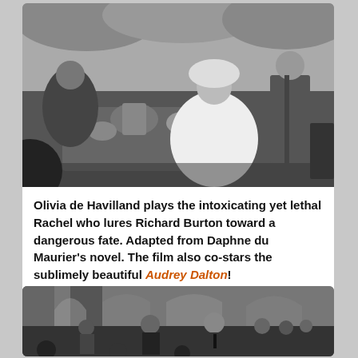[Figure (photo): Black and white film still showing a garden tea party scene with several people, including a woman in an elaborate white dress and bonnet, and a man in a suit standing beside her. A tea service is visible on a table.]
Olivia de Havilland plays the intoxicating yet lethal Rachel who lures Richard Burton toward a dangerous fate. Adapted from Daphne du Maurier's novel. The film also co-stars the sublimely beautiful Audrey Dalton!
[Figure (photo): Black and white film still showing a church or cathedral interior with arched stone columns. Several people are gathered including a woman with dark hair and a man in formal attire.]